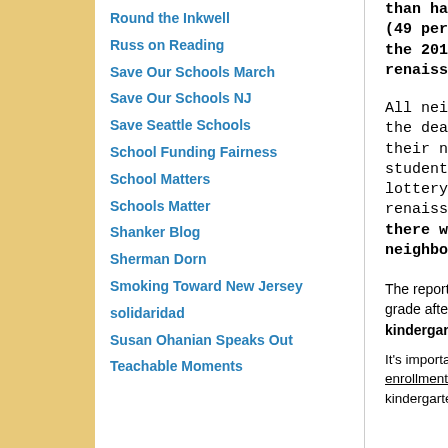Round the Inkwell
Russ on Reading
Save Our Schools March
Save Our Schools NJ
Save Seattle Schools
School Funding Fairness
School Matters
Schools Matter
Shanker Blog
Sherman Dorn
Smoking Toward New Jersey
solidaridad
Susan Ohanian Speaks Out
Teachable Moments
than ha (49 per the 201 renaiss All nei the dea their n student lottery renaiss there w neighbo The report goes o grade after grade, kindergarten stu It's important to m enrollments, deci kindergarten year